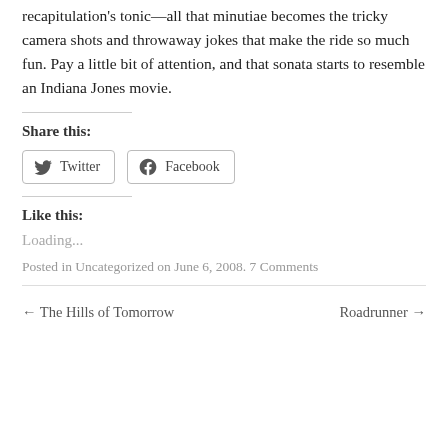recapitulation's tonic—all that minutiae becomes the tricky camera shots and throwaway jokes that make the ride so much fun. Pay a little bit of attention, and that sonata starts to resemble an Indiana Jones movie.
Share this:
Twitter  Facebook
Like this:
Loading...
Posted in Uncategorized on June 6, 2008. 7 Comments
← The Hills of Tomorrow    Roadrunner →